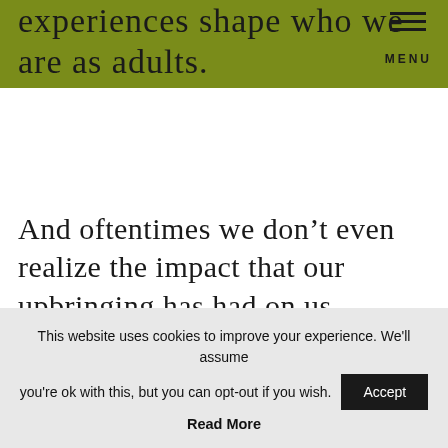MENU
experiences shape who we are as adults.
And oftentimes we don’t even realize the impact that our upbringing has had on us, especially when it comes to how we manage our money.
This website uses cookies to improve your experience. We'll assume you're ok with this, but you can opt-out if you wish. Accept
Read More